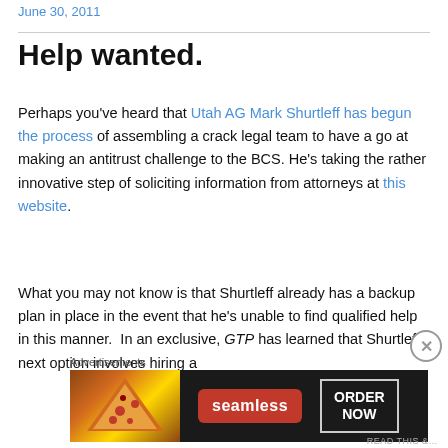June 30, 2011
Help wanted.
Perhaps you've heard that Utah AG Mark Shurtleff has begun the process of assembling a crack legal team to have a go at making an antitrust challenge to the BCS. He's taking the rather innovative step of soliciting information from attorneys at this website.
What you may not know is that Shurtleff already has a backup plan in place in the event that he's unable to find qualified help in this manner.  In an exclusive, GTP has learned that Shurtleff's next option involves hiring a
Advertisements
[Figure (infographic): Seamless food delivery advertisement showing pizza and 'ORDER NOW' call to action]